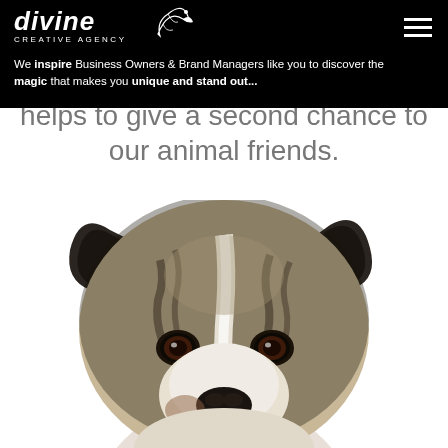divine CREATIVE AGENCY
We inspire Business Owners & Brand Managers like you to discover the magic that makes you unique and stand out...
helps to give a second chance to our animal friends.
[Figure (photo): Close-up photograph of a brindle and white puppy/dog looking directly at the camera against a white background. The dog has dark brindle markings, folded ears, soulful dark eyes with reddish-brown irises, and a white stripe down the center of its face.]